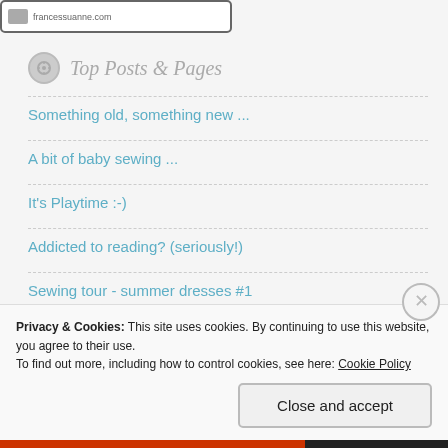[Figure (screenshot): Screenshot of a website URL bar showing francessuanne.com with a small image icon]
Top Posts & Pages
Something old, something new ...
A bit of baby sewing ...
It's Playtime :-)
Addicted to reading? (seriously!)
Sewing tour - summer dresses #1
Privacy & Cookies: This site uses cookies. By continuing to use this website, you agree to their use.
To find out more, including how to control cookies, see here: Cookie Policy
Close and accept